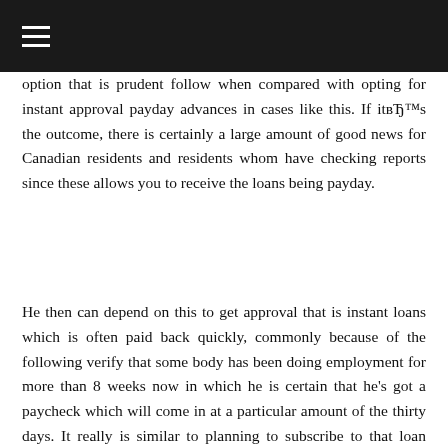≡
option that is prudent follow when compared with opting for instant approval payday advances in cases like this. If itвЂ™s the outcome, there is certainly a large amount of good news for Canadian residents and residents whom have checking reports since these allows you to receive the loans being payday.
He then can depend on this to get approval that is instant loans which is often paid back quickly, commonly because of the following verify that some body has been doing employment for more than 8 weeks now in which he is certain that he's got a paycheck which will come in at a particular amount of the thirty days. It really is similar to planning to subscribe to that loan which all the scientific studies are done. The processing about the loan isnвЂ™t the borrowers frustration, however a domain that is interior the event